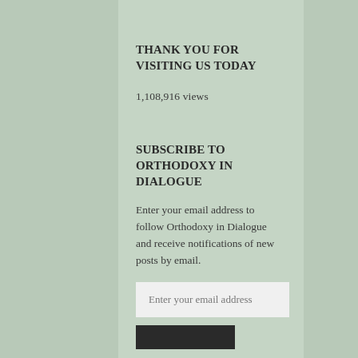THANK YOU FOR VISITING US TODAY
1,108,916 views
SUBSCRIBE TO ORTHODOXY IN DIALOGUE
Enter your email address to follow Orthodoxy in Dialogue and receive notifications of new posts by email.
Enter your email address